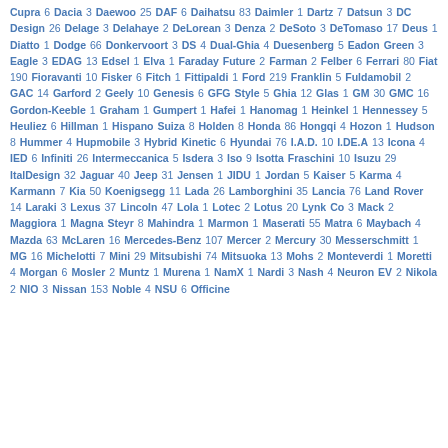Cupra 6 Dacia 3 Daewoo 25 DAF 6 Daihatsu 83 Daimler 1 Dartz 7 Datsun 3 DC Design 26 Delage 3 Delahaye 2 DeLorean 3 Denza 2 DeSoto 3 DeTomaso 17 Deus 1 Diatto 1 Dodge 66 Donkervoort 3 DS 4 Dual-Ghia 4 Duesenberg 5 Eadon Green 3 Eagle 3 EDAG 13 Edsel 1 Elva 1 Faraday Future 2 Farman 2 Felber 6 Ferrari 80 Fiat 190 Fioravanti 10 Fisker 6 Fitch 1 Fittipaldi 1 Ford 219 Franklin 5 Fuldamobil 2 GAC 14 Garford 2 Geely 10 Genesis 6 GFG Style 5 Ghia 12 Glas 1 GM 30 GMC 16 Gordon-Keeble 1 Graham 1 Gumpert 1 Hafei 1 Hanomag 1 Heinkel 1 Hennessey 5 Heuliez 6 Hillman 1 Hispano Suiza 8 Holden 8 Honda 86 Hongqi 4 Hozon 1 Hudson 8 Hummer 4 Hupmobile 3 Hybrid Kinetic 6 Hyundai 76 I.A.D. 10 I.DE.A 13 Icona 4 IED 6 Infiniti 26 Intermeccanica 5 Isdera 3 Iso 9 Isotta Fraschini 10 Isuzu 29 ItalDesign 32 Jaguar 40 Jeep 31 Jensen 1 JIDU 1 Jordan 5 Kaiser 5 Karma 4 Karmann 7 Kia 50 Koenigsegg 11 Lada 26 Lamborghini 35 Lancia 76 Land Rover 14 Laraki 3 Lexus 37 Lincoln 47 Lola 1 Lotec 2 Lotus 20 Lynk Co 3 Mack 2 Maggiora 1 Magna Steyr 8 Mahindra 1 Marmon 1 Maserati 55 Matra 6 Maybach 4 Mazda 63 McLaren 16 Mercedes-Benz 107 Mercer 2 Mercury 30 Messerschmitt 1 MG 16 Michelotti 7 Mini 29 Mitsubishi 74 Mitsuoka 13 Mohs 2 Monteverdi 1 Moretti 4 Morgan 6 Mosler 2 Muntz 1 Murena 1 NamX 1 Nardi 3 Nash 4 Neuron EV 2 Nikola 2 NIO 3 Nissan 153 Noble 4 NSU 6 Officine